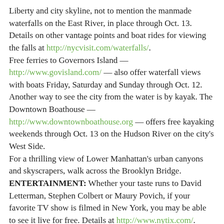Liberty and city skyline, not to mention the manmade waterfalls on the East River, in place through Oct. 13. Details on other vantage points and boat rides for viewing the falls at http://nycvisit.com/waterfalls/.
Free ferries to Governors Island — http://www.govisland.com/ — also offer waterfall views with boats Friday, Saturday and Sunday through Oct. 12.
Another way to see the city from the water is by kayak. The Downtown Boathouse — http://www.downtownboathouse.org — offers free kayaking weekends through Oct. 13 on the Hudson River on the city's West Side.
For a thrilling view of Lower Manhattan's urban canyons and skyscrapers, walk across the Brooklyn Bridge.
ENTERTAINMENT: Whether your taste runs to David Letterman, Stephen Colbert or Maury Povich, if your favorite TV show is filmed in New York, you may be able to see it live for free. Details at http://www.nytix.com/.
A few Broadway shows hold nightly lotteries for cheap front-row tickets ($21.50 for "Avenue Q," $26.50 for "In The Heights," check Web sites for details). It's a great deal if your plans are flexible. Or try the TKTS booth in the Marriott Marquis Hotel, West 46th Street between Broadway and Eighth Avenue, which sells tickets at up to 50 percent off for that night's performance at many Broadway and off-Broadway shows.
Many city parks host free shows in the summer, but they mostly